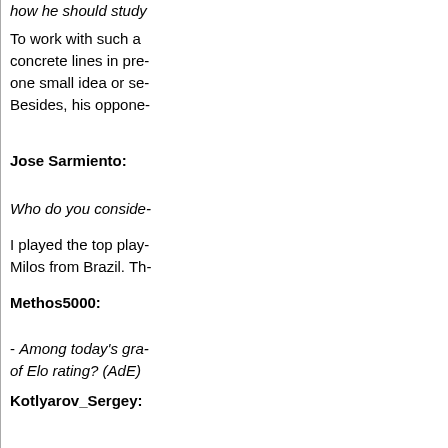how he should study
To work with such a concrete lines in pre- one small idea or se- Besides, his oppone-
Jose Sarmiento:
Who do you conside-
I played the top play- Milos from Brazil. Th-
Methos5000:
- Among today's gra- of Elo rating? (AdE)
Kotlyarov_Sergey:
- Which contempora- Memorial) do you sy-
Gildar:
- Which young Russ- future compete for th-
Karjakin, but to be a